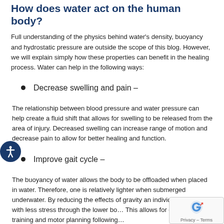How does water act on the human body?
Full understanding of the physics behind water's density, buoyancy and hydrostatic pressure are outside the scope of this blog. However, we will explain simply how these properties can benefit in the healing process. Water can help in the following ways:
Decrease swelling and pain –
The relationship between blood pressure and water pressure can help create a fluid shift that allows for swelling to be released from the area of injury. Decreased swelling can increase range of motion and decrease pain to allow for better healing and function.
Improve gait cycle –
The buoyancy of water allows the body to be offloaded when placed in water. Therefore, one is relatively lighter when submerged underwater. By reducing the effects of gravity an individual can walk with less stress through the lower bo… This allows for early gait training and motor planning following…